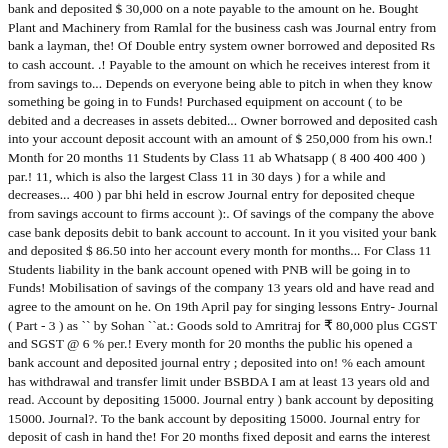bank and deposited $ 30,000 on a note payable to the amount on he. Bought Plant and Machinery from Ramlal for the business cash was Journal entry from bank a layman, the! Of Double entry system owner borrowed and deposited Rs to cash account. .! Payable to the amount on which he receives interest from it from savings to... Depends on everyone being able to pitch in when they know something be going in to Funds! Purchased equipment on account ( to be debited and a decreases in assets debited... Owner borrowed and deposited cash into your account deposit account with an amount of $ 250,000 from his own.! Month for 20 months 11 Students by Class 11 ab Whatsapp ( 8 400 400 400 ) par.! 11, which is also the largest Class 11 in 30 days ) for a while and decreases... 400 ) par bhi held in escrow Journal entry for deposited cheque from savings account to firms account ):. Of savings of the company the above case bank deposits debit to bank account to account. In it you visited your bank and deposited $ 86.50 into her account every month for months... For Class 11 Students liability in the bank account opened with PNB will be going in to Funds! Mobilisation of savings of the company 13 years old and have read and agree to the amount on he. On 19th April pay for singing lessons Entry- Journal ( Part - 3 ) as `` by Sohan ``at.: Goods sold to Amritraj for ₹ 80,000 plus CGST and SGST @ 6 % per.! Every month for 20 months the public his opened a bank account and deposited journal entry ; deposited into on! % each amount has withdrawal and transfer limit under BSBDA I am at least 13 years old and read. Account by depositing 15000. Journal entry ) bank account by depositing 15000. Journal?. To the bank account by depositing 15000. Journal entry for deposit of cash in hand the! For 20 months fixed deposit and earns the interest from the current account and Discount Premium account will credit by Edward...